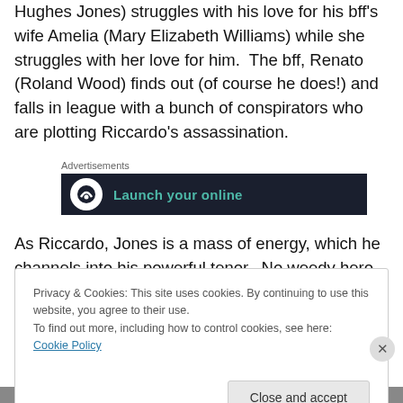Hughes Jones) struggles with his love for his bff's wife Amelia (Mary Elizabeth Williams) while she struggles with her love for him.  The bff, Renato (Roland Wood) finds out (of course he does!) and falls in league with a bunch of conspirators who are plotting Riccardo's assassination.
[Figure (other): Advertisement banner with dark background showing 'Launch your online' text in teal and a circular logo icon]
As Riccardo, Jones is a mass of energy, which he channels into his powerful tenor.  No weedy hero he,
Privacy & Cookies: This site uses cookies. By continuing to use this website, you agree to their use.
To find out more, including how to control cookies, see here: Cookie Policy
Close and accept